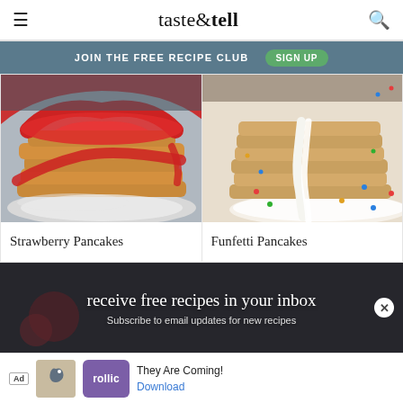taste & tell
JOIN THE FREE RECIPE CLUB   SIGN UP
[Figure (photo): Stack of strawberry pancakes covered in red strawberry sauce on a white plate]
Strawberry Pancakes
[Figure (photo): Stack of funfetti pancakes with white glaze dripping down, colorful sprinkles on a white plate]
Funfetti Pancakes
receive free recipes in your inbox
Subscribe to email updates for new recipes
Ad  They Are Coming!  Download